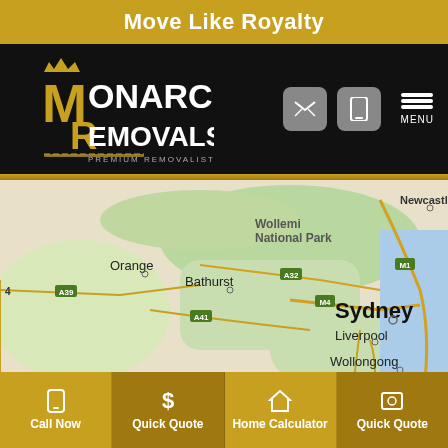Move Like Royalty
[Figure (logo): Monarch Removals Premium Removalists logo - gold and white crown with stylized M and R letters on black background, with navigation icons (envelope, phone) and MENU button]
[Figure (map): Google Maps style map of New South Wales Australia showing Sydney, Liverpool, Wollongong, Nowra, Goulburn, Orange, Bathurst, Wollemi National Park, Newcastle. Roads labeled A32, A39, A41, M1, M4, M31.]
Call Now | Quick Quote | Home Calculator | Quick Quote